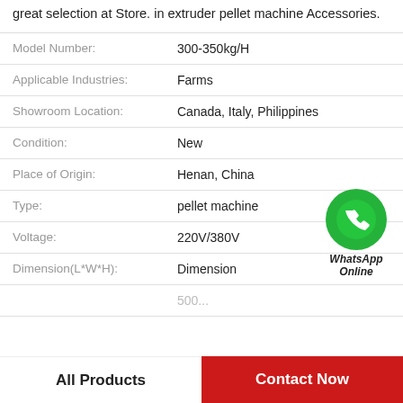great selection at Store. in extruder pellet machine Accessories.
| Property | Value |
| --- | --- |
| Model Number: | 300-350kg/H |
| Applicable Industries: | Farms |
| Showroom Location: | Canada, Italy, Philippines |
| Condition: | New |
| Place of Origin: | Henan, China |
| Type: | pellet machine |
| Voltage: | 220V/380V |
| Dimension(L*W*H): | Dimension |
|  | 500... |
[Figure (logo): WhatsApp Online green phone icon badge with text WhatsApp Online]
All Products  |  Contact Now